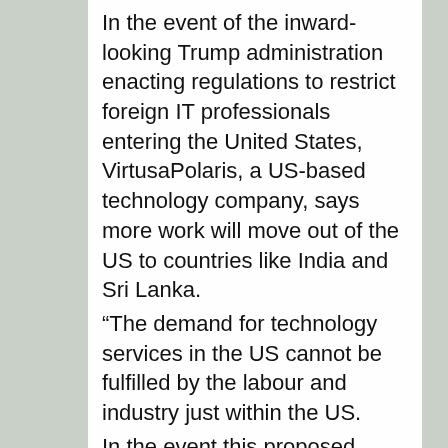In the event of the inward-looking Trump administration enacting regulations to restrict foreign IT professionals entering the United States, VirtusaPolaris, a US-based technology company, says more work will move out of the US to countries like India and Sri Lanka. “The demand for technology services in the US cannot be fulfilled by the labour and industry just within the US. In the event this proposed legislature such as visa regulations was enacted, the work still has to happen and it will result in more work potentially being done outside the shores of the United States,” VirtusaPolaris Chairman/CEO Kris Canekeratne told reporters in Colombo. VirtusaPolaris employs about 18,500 IT professionals worldwide and two thirds of that work in India. As the largest IT sector employer in the